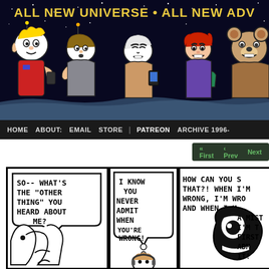[Figure (illustration): Webcomic website header banner with dark blue/black starry night sky background, title text 'ALL NEW UNIVERSE • ALL NEW ADVENTURES' in yellow, and several cartoon characters at the bottom including a blonde boy, a girl, two characters holding devices, and a bear-like character]
HOME   ABOUT:   EMAIL   STORE   |   PATREON   ARCHIVE 1996-
« First   < Prev   Next
[Figure (illustration): Three comic strip panels. Panel 1: speech bubble text 'SO-- WHAT'S THE "OTHER THING" YOU HEARD ABOUT ME?' with cartoon figure. Panel 2: speech bubble text 'I KNOW YOU NEVER ADMIT WHEN YOU'RE WRONG!' with thought bubble. Panel 3: partial text 'HOW CAN YOU S THAT?! WHEN I'M WRONG, I'M WRO AND WHEN I M A MIST I'M T FIRST ADM IT!' with cartoon character.]